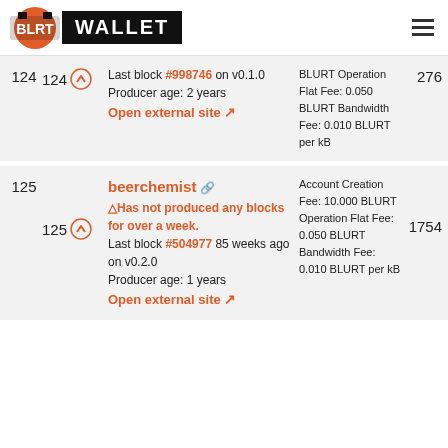BLURT WALLET
| Rank | Votes | Witness Info | Fees | Total Votes |
| --- | --- | --- | --- | --- |
| 124 | 124 | Last block #998746 on v0.1.0
Producer age: 2 years
Open external site | BLURT Operation Flat Fee: 0.050 BLURT Bandwidth Fee: 0.010 BLURT per kB | 276 |
| 125 | 125 | beerchemist
⚠Has not produced any blocks for over a week.
Last block #504977 85 weeks ago on v0.2.0
Producer age: 1 years
Open external site | Account Creation Fee: 10.000 BLURT Operation Flat Fee: 0.050 BLURT Bandwidth Fee: 0.010 BLURT per kB | 1754 |